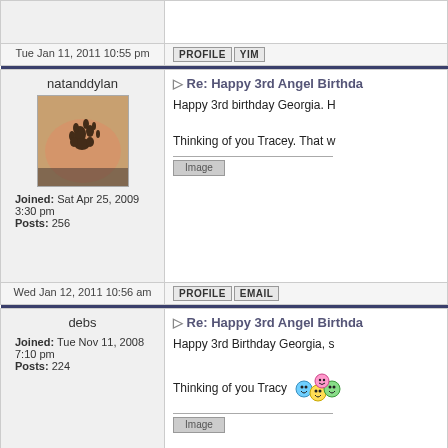| User | Post |
| --- | --- |
| natanddylan
Joined: Sat Apr 25, 2009 3:30 pm
Posts: 256 | Re: Happy 3rd Angel Birthday
Happy 3rd birthday Georgia. H
Thinking of you Tracey. That w |
| debs
Joined: Tue Nov 11, 2008 7:10 pm
Posts: 224 | Re: Happy 3rd Angel Birthday
Happy 3rd Birthday Georgia, s
Thinking of you Tracy |
| debs
Joined: Tue Nov 11, 2008 7:10 pm | Re: Happy 3rd Angel Birthday
Happy 3rd Birthday Georgia, s |